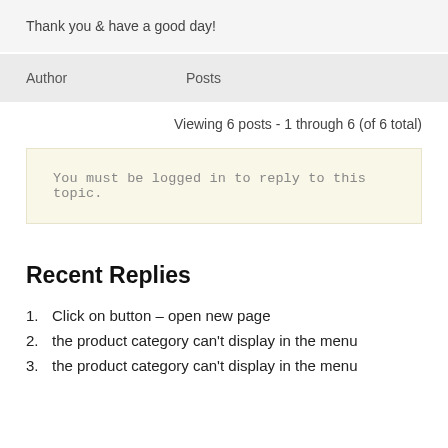Thank you & have a good day!
| Author | Posts |
| --- | --- |
Viewing 6 posts - 1 through 6 (of 6 total)
You must be logged in to reply to this topic.
Recent Replies
Click on button – open new page
the product category can't display in the menu
the product category can't display in the menu